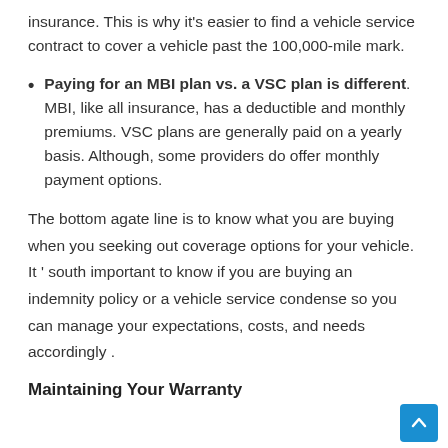insurance. This is why it's easier to find a vehicle service contract to cover a vehicle past the 100,000-mile mark.
Paying for an MBI plan vs. a VSC plan is different. MBI, like all insurance, has a deductible and monthly premiums. VSC plans are generally paid on a yearly basis. Although, some providers do offer monthly payment options.
The bottom agate line is to know what you are buying when you seeking out coverage options for your vehicle. It ' south important to know if you are buying an indemnity policy or a vehicle service condense so you can manage your expectations, costs, and needs accordingly .
Maintaining Your Warranty